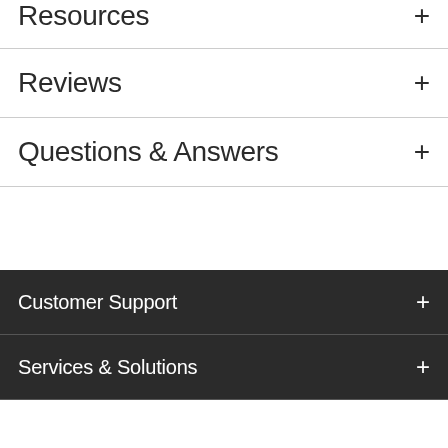Resources +
Reviews +
Questions & Answers +
Customer Support +
Services & Solutions +